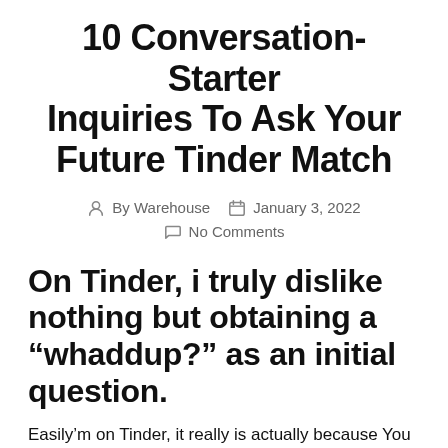10 Conversation-Starter Inquiries To Ask Your Future Tinder Match
By Warehouse  January 3, 2022  No Comments
On Tinder, i truly dislike nothing but obtaining a “whaddup?” as an initial question.
Easily’m on Tinder, it really is actually because You will find absolutely nothing better to manage. (No crime to